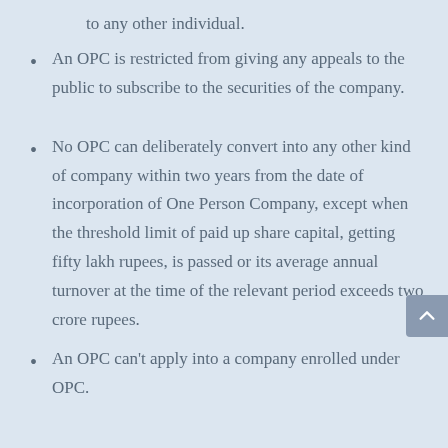to any other individual.
An OPC is restricted from giving any appeals to the public to subscribe to the securities of the company.
No OPC can deliberately convert into any other kind of company within two years from the date of incorporation of One Person Company, except when the threshold limit of paid up share capital, getting fifty lakh rupees, is passed or its average annual turnover at the time of the relevant period exceeds two crore rupees.
An OPC can't apply into a company enrolled under OPC.